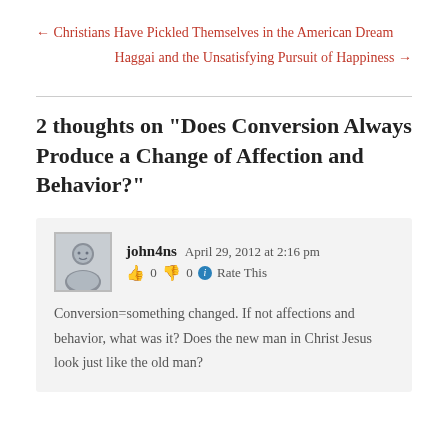← Christians Have Pickled Themselves in the American Dream
Haggai and the Unsatisfying Pursuit of Happiness →
2 thoughts on “Does Conversion Always Produce a Change of Affection and Behavior?”
john4ns   April 29, 2012 at 2:16 pm
👍 0 👎 0 ℹ Rate This
Conversion=something changed. If not affections and behavior, what was it? Does the new man in Christ Jesus look just like the old man?